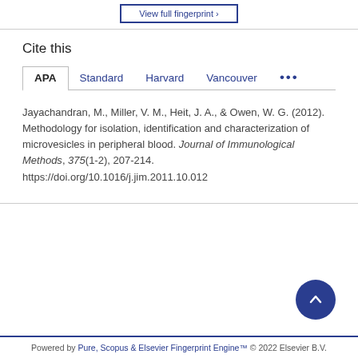[Figure (other): View full fingerprint button (partial, top of page)]
Cite this
APA  Standard  Harvard  Vancouver  ...
Jayachandran, M., Miller, V. M., Heit, J. A., & Owen, W. G. (2012). Methodology for isolation, identification and characterization of microvesicles in peripheral blood. Journal of Immunological Methods, 375(1-2), 207-214. https://doi.org/10.1016/j.jim.2011.10.012
Powered by Pure, Scopus & Elsevier Fingerprint Engine™ © 2022 Elsevier B.V.